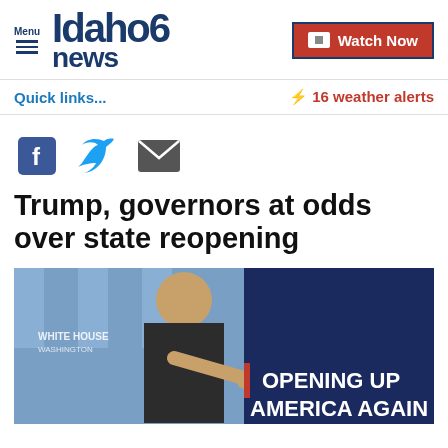Menu | Idaho news6 | Watch Now
Quick links...
⚡ 16 weather alerts
[Figure (other): Social share icons: Facebook, Twitter, Email]
Trump, governors at odds over state reopening
[Figure (photo): Photo of President Trump pointing at a White House press briefing with a screen behind showing 'OPENING UP AMERICA AGAIN']